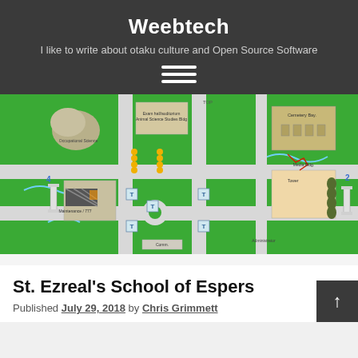Weebtech
I like to write about otaku culture and Open Source Software
[Figure (map): Campus map of St. Ezreal's School of Espers showing buildings, roads, trees, and landmarks on a green background]
St. Ezreal's School of Espers
Published July 29, 2018 by Chris Grimmett